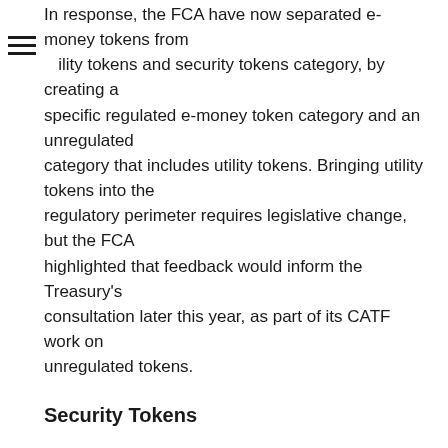In response, the FCA have now separated e-money tokens from ility tokens and security tokens category, by creating a specific regulated e-money token category and an unregulated category that includes utility tokens. Bringing utility tokens into the regulatory perimeter requires legislative change, but the FCA highlighted that feedback would inform the Treasury's consultation later this year, as part of its CATF work on unregulated tokens.
Security Tokens
The Original Guidance stated that these are within the regulatory perimeter. Respondents generally agreed with this approach, although several Respondents highlighted the need for a more harmonised international approach.
Under the Final Guidance, the FCA recognised the importance of a harmonised international framework to prevent firms from gaming the system (regulatory arbitrage) or creating difficulties for firms that operate in multiple jurisdictions.